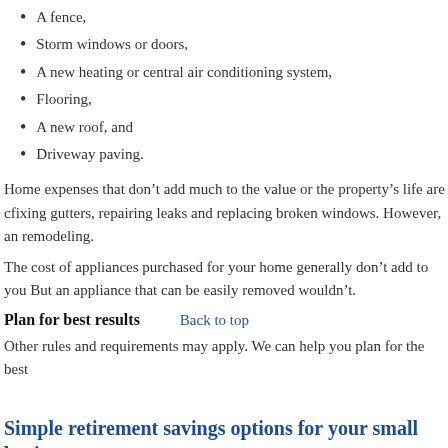A fence,
Storm windows or doors,
A new heating or central air conditioning system,
Flooring,
A new roof, and
Driveway paving.
Home expenses that don't add much to the value or the property's life are considered repairs – things like fixing gutters, repairing leaks and replacing broken windows. However, an exception may apply for extensive remodeling.
The cost of appliances purchased for your home generally don't add to your basis. But an appliance that can be easily removed wouldn't.
Plan for best results
Other rules and requirements may apply. We can help you plan for the best
Simple retirement savings options for your small business
GENERAL
Posted by Admin Posted on Apr 13 2021